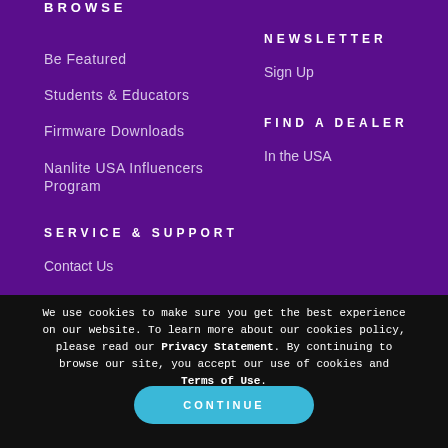BROWSE
Be Featured
Students & Educators
Firmware Downloads
Nanlite USA Influencers Program
NEWSLETTER
Sign Up
FIND A DEALER
In the USA
SERVICE & SUPPORT
Contact Us
We use cookies to make sure you get the best experience on our website. To learn more about our cookies policy, please read our Privacy Statement. By continuing to browse our site, you accept our use of cookies and Terms of Use.
CONTINUE